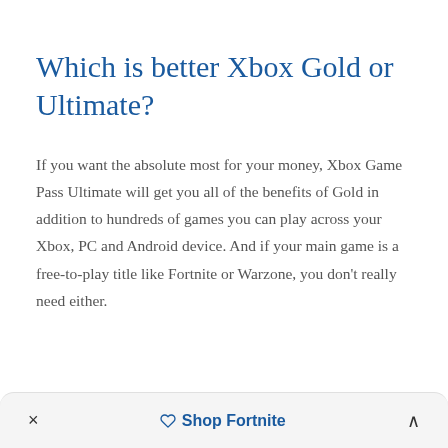Which is better Xbox Gold or Ultimate?
If you want the absolute most for your money, Xbox Game Pass Ultimate will get you all of the benefits of Gold in addition to hundreds of games you can play across your Xbox, PC and Android device. And if your main game is a free-to-play title like Fortnite or Warzone, you don't really need either.
× Shop Fortnite ^